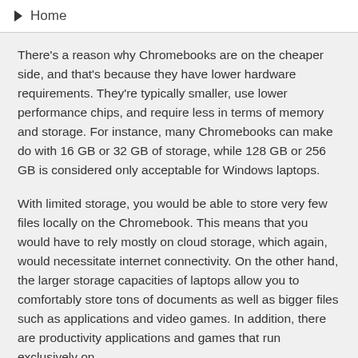▶ Home
There's a reason why Chromebooks are on the cheaper side, and that's because they have lower hardware requirements. They're typically smaller, use lower performance chips, and require less in terms of memory and storage. For instance, many Chromebooks can make do with 16 GB or 32 GB of storage, while 128 GB or 256 GB is considered only acceptable for Windows laptops.
With limited storage, you would be able to store very few files locally on the Chromebook. This means that you would have to rely mostly on cloud storage, which again, would necessitate internet connectivity. On the other hand, the larger storage capacities of laptops allow you to comfortably store tons of documents as well as bigger files such as applications and video games. In addition, there are productivity applications and games that run exclusively on